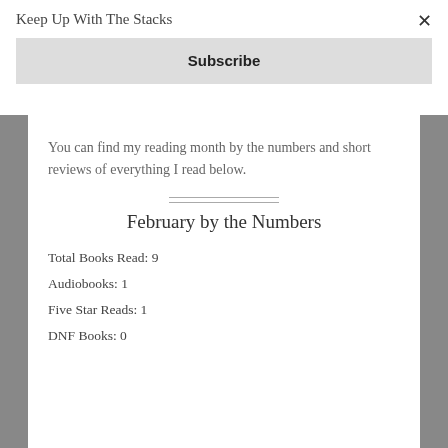Keep Up With The Stacks
Subscribe
You can find my reading month by the numbers and short reviews of everything I read below.
February by the Numbers
Total Books Read: 9
Audiobooks: 1
Five Star Reads: 1
DNF Books: 0